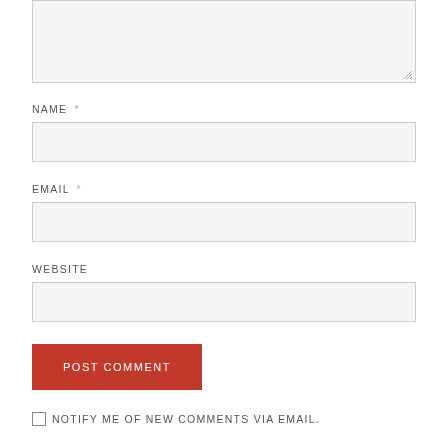[Figure (screenshot): Comment form textarea (top, partially visible), name input field with label NAME *, email input field with label EMAIL *, website input field with label WEBSITE, POST COMMENT button in red, and NOTIFY ME OF NEW COMMENTS VIA EMAIL. checkbox row]
NAME *
EMAIL *
WEBSITE
POST COMMENT
NOTIFY ME OF NEW COMMENTS VIA EMAIL.